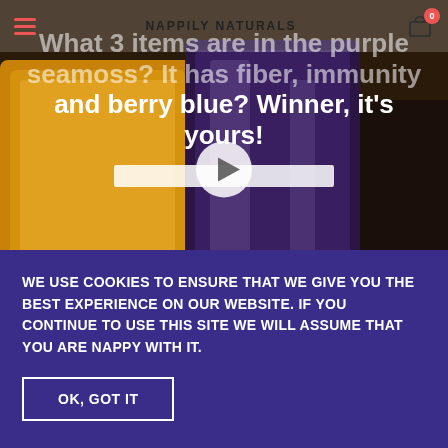Nappily Naturals
[Figure (screenshot): Website screenshot showing a video thumbnail of purple and orange sea moss containers with a play button overlay. Text on video reads: What 3 items are in the purple seamoss? It has fiber, immunity and berry blue? Winner, it's yours!]
We use cookies to ensure that we give you the best experience on our website. If you continue to use this site we will assume that you are nappy with it.
OK, Got It